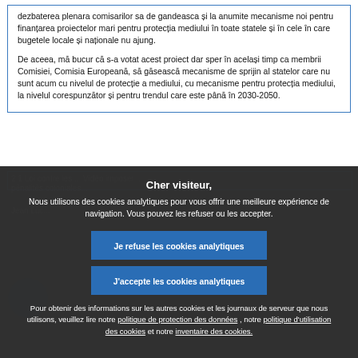dezbaterea plenara comisarilor sa de gandeasca și la anumite mecanisme noi pentru finanțarea proiectelor mari pentru protecția mediului în toate statele și în cele în care bugetele locale și naționale nu ajung.
De aceea, mă bucur că s-a votat acest proiect dar sper în același timp ca membrii Comisiei, Comisia Europeană, să găsească mecanisme de sprijin al statelor care nu sunt acum cu nivelul de protecție a mediului, cu mecanisme pentru protecția mediului, la nivelul corespunzător și pentru trendul care este până în 2030-2050.
[Figure (screenshot): Cookie consent modal overlay on a dark web page background. Title: 'Cher visiteur,' with description about analytics cookies and two buttons: 'Je refuse les cookies analytiques' and 'J'accepte les cookies analytiques', followed by links to privacy policy and cookie policy.]